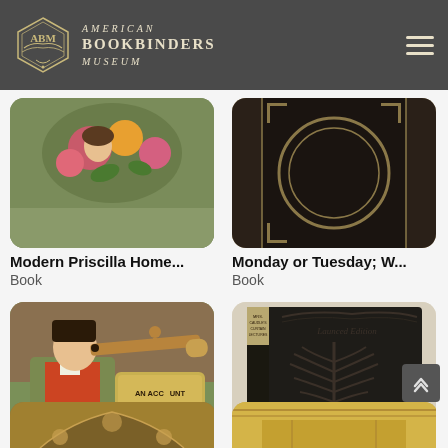AMERICAN BOOKBINDERS MUSEUM
[Figure (photo): Book cover with floral design - Modern Priscilla Home]
Modern Priscilla Home...
Book
[Figure (photo): Book cover - Monday or Tuesday; black decorative cover]
Monday or Tuesday; W...
Book
[Figure (photo): Book cover - Mr. Munchausen: illustrated cover with man looking through telescope, text AN ACCOUNT OF SOME OF HIS RECENT ADVENTURES]
Mr. Munchausen: Bein...
Book
[Figure (photo): Book cover - Mrs. Caudle's Curtain Lectures; dark embossed book with plant/fern design]
Mrs. Caudle's Curtain L...
Book